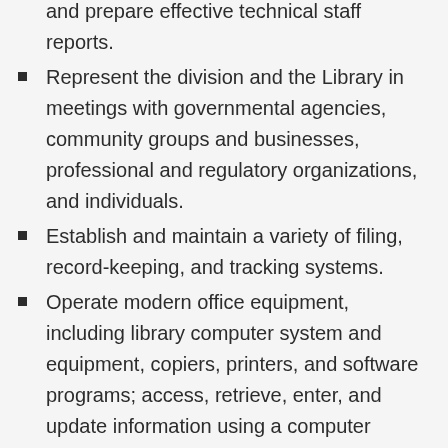and prepare effective technical staff reports.
Represent the division and the Library in meetings with governmental agencies, community groups and businesses, professional and regulatory organizations, and individuals.
Establish and maintain a variety of filing, record-keeping, and tracking systems.
Operate modern office equipment, including library computer system and equipment, copiers, printers, and software programs; access, retrieve, enter, and update information using a computer workstation.